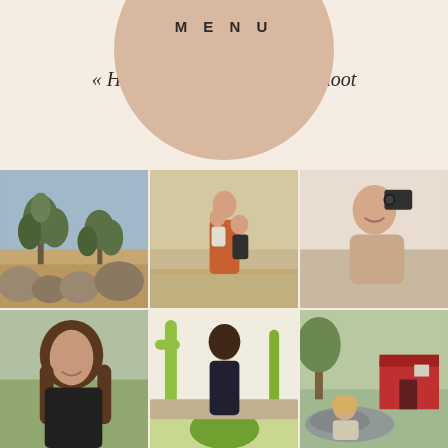MENU
« How to ge... int & Shoot
[Figure (photo): Grid of 6 photographs: top-left: Joshua tree desert landscape with rocky boulders; top-center: woman in orange dress holding two children at a beach/outdoor setting; top-right: smiling woman holding a camera; bottom-left: teenage girl with long brown hair smiling, wearing black top; bottom-center: young woman in black dress standing by cactus garden; bottom-right: young child sitting on rocks near a red barn building.]